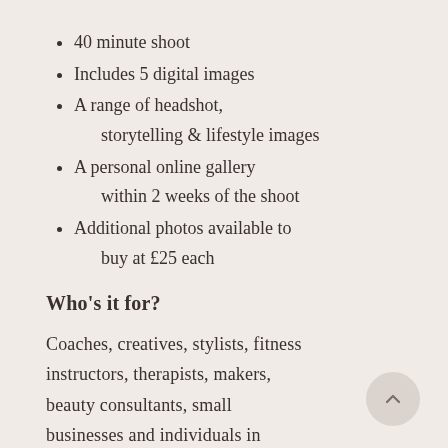40 minute shoot
Includes 5 digital images
A range of headshot, storytelling & lifestyle images
A personal online gallery within 2 weeks of the shoot
Additional photos available to buy at £25 each
Who's it for?
Coaches, creatives, stylists, fitness instructors, therapists, makers, beauty consultants, small businesses and individuals in